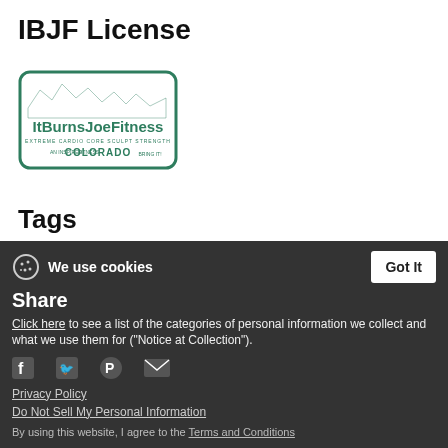IBJF License
[Figure (logo): ItBurnsJoeFitness fitness license plate logo — green border, mountain silhouette, text: ITBURNSJOE FITNESS, EXTREME CARDIO CORE SCULPT STRENGTH, AN INSPIRED FITNESS, COLORADO, BRING IT!]
Tags
license   3   license plate
We use cookies | Got It | Share | Click here to see a list of the categories of personal information we collect and what we use them for ("Notice at Collection"). | Privacy Policy | Do Not Sell My Personal Information | By using this website, I agree to the Terms and Conditions